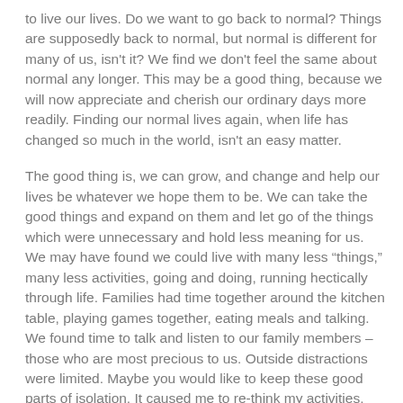to live our lives. Do we want to go back to normal? Things are supposedly back to normal, but normal is different for many of us, isn't it? We find we don't feel the same about normal any longer. This may be a good thing, because we will now appreciate and cherish our ordinary days more readily. Finding our normal lives again, when life has changed so much in the world, isn't an easy matter.
The good thing is, we can grow, and change and help our lives be whatever we hope them to be. We can take the good things and expand on them and let go of the things which were unnecessary and hold less meaning for us. We may have found we could live with many less “things,” many less activities, going and doing, running hectically through life. Families had time together around the kitchen table, playing games together, eating meals and talking. We found time to talk and listen to our family members – those who are most precious to us. Outside distractions were limited. Maybe you would like to keep these good parts of isolation. It caused me to re-think my activities, and I found I even enjoyed being at home more.